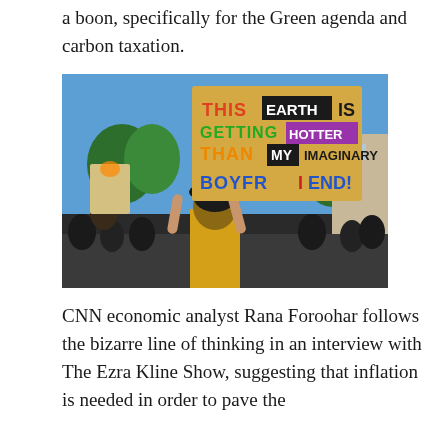a boon, specifically for the Green agenda and carbon taxation.
[Figure (photo): Climate protest photo: a young woman in a yellow shirt holds up a colorful handmade sign reading 'THIS EARTH IS GETTING HOTTER THAN MY IMAGINARY BOYFRIEND!' at an outdoor protest with other demonstrators visible in the background.]
CNN economic analyst Rana Foroohar follows the bizarre line of thinking in an interview with The Ezra Kline Show, suggesting that inflation is needed in order to pave the